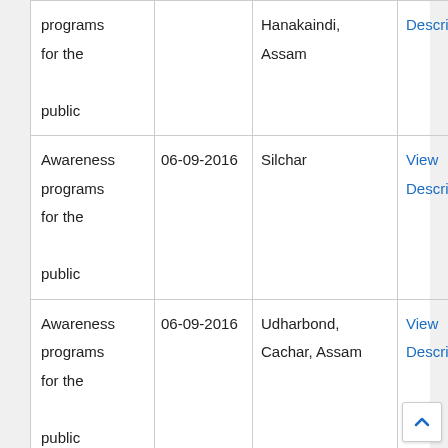| Activity | Date | Location | Link |
| --- | --- | --- | --- |
| Awareness programs for the public |  | Hanakaindi, Assam | View Description |
| Awareness programs for the public | 06-09-2016 | Silchar | View Description |
| Awareness programs for the public | 06-09-2016 | Udharbond, Cachar, Assam | View Description |
| Awareness programs for the public | 06-09-2016 | Kolasib | View Descrip... |